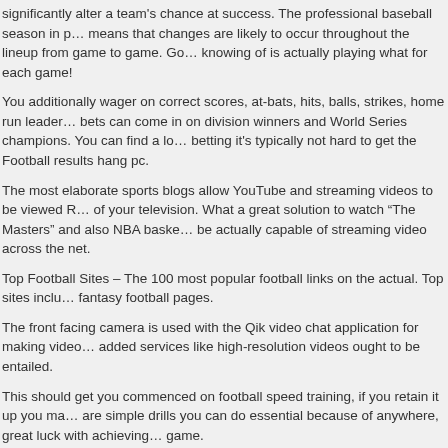significantly alter a team's chance at success. The professional baseball season in p... means that changes are likely to occur throughout the lineup from game to game. Go... knowing of is actually playing what for each game!
You additionally wager on correct scores, at-bats, hits, balls, strikes, home run leader... bets can come in on division winners and World Series champions. You can find a lo... betting it's typically not hard to get the Football results hang pc.
The most elaborate sports blogs allow YouTube and streaming videos to be viewed R... of your television. What a great solution to watch "The Masters" and also NBA baske... be actually capable of streaming video across the net.
Top Football Sites – The 100 most popular football links on the actual. Top sites inclu... fantasy football pages.
The front facing camera is used with the Qik video chat application for making video ... added services like high-resolution videos ought to be entailed.
This should get you commenced on football speed training, if you retain it up you ma... are simple drills you can do essential because of anywhere, great luck with achieving... game.
FILED UNDER: UNCATEGORIZED